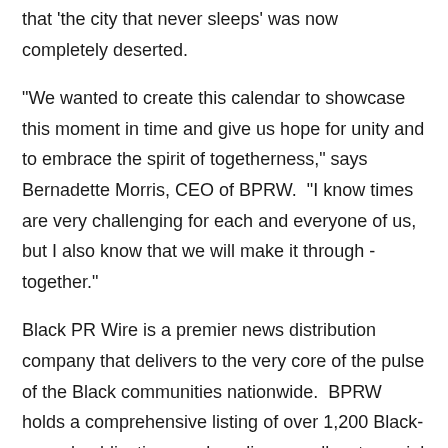that 'the city that never sleeps' was now completely deserted.
"We wanted to create this calendar to showcase this moment in time and give us hope for unity and to embrace the spirit of togetherness," says Bernadette Morris, CEO of BPRW.  "I know times are very challenging for each and everyone of us, but I also know that we will make it through - together."
Black PR Wire is a premier news distribution company that delivers to the very core of the pulse of the Black communities nationwide.  BPRW holds a comprehensive listing of over 1,200 Black-owned publications and media, as well as to social services, grassroots organizations, faith-based groups, influential leaders, and much more.  The